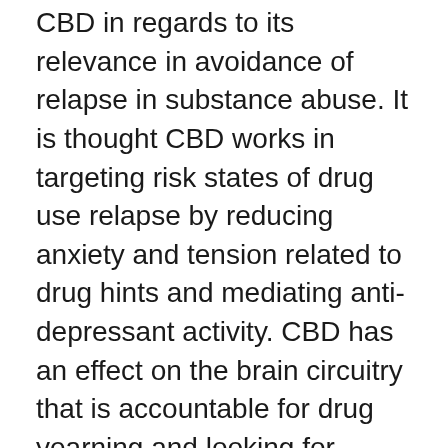CBD in regards to its relevance in avoidance of relapse in substance abuse. It is thought CBD works in targeting risk states of drug use relapse by reducing anxiety and tension related to drug hints and mediating anti-depressant activity. CBD has an effect on the brain circuitry that is accountable for drug yearning and looking for habits triggered by drug-related context and tension. Taking into consideration the neuropharmacological and behavioral impacts of CBD and its effect on the neurocircuitry managing addiction, the implications of CBD for the advancement of new treatments of drug dependency has drawn in the interest in the research study community examining healing options for drug dependency and regression.